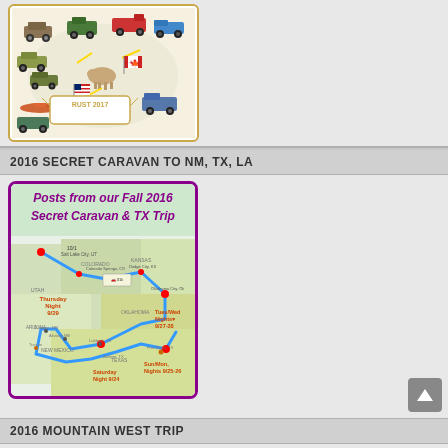[Figure (illustration): RUST 2017 illustrated poster showing various vintage military vehicles, animals, flags (US and Canadian), and themed map-like artwork with 'RUST 2017' text in center banner]
2016 SECRET CARAVAN TO NM, TX, LA
[Figure (map): Posts from our Fall 2016 Secret Caravan & TX Trip - road map showing route through Colorado, Kansas, Oklahoma, New Mexico, Texas with overnight stops labeled: Thursday Night 9/29, Tues/Wed Nights 9/27-28, Saturday Night 9/24, Sun/Mon Nights 9/25-26]
2016 MOUNTAIN WEST TRIP